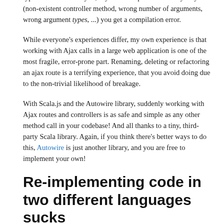Not only is serialization/deserialization of arguments and return types all handled for you, if you mess up the call in any way (non-existent controller method, wrong number of arguments, wrong argument types, ...) you get a compilation error.
While everyone's experiences differ, my own experience is that working with Ajax calls in a large web application is one of the most fragile, error-prone part. Renaming, deleting or refactoring an ajax route is a terrifying experience, that you avoid doing due to the non-trivial likelihood of breakage.
With Scala.js and the Autowire library, suddenly working with Ajax routes and controllers is as safe and simple as any other method call in your codebase! And all thanks to a tiny, third-party Scala library. Again, if you think there's better ways to do this, Autowire is just another library, and you are free to implement your own!
Re-implementing code in two different languages sucks
Sometimes, you just need to have the same functionality in the browser and on the server. You may want some input-validation logic to be performed client-side and then re-checked server-side. Perhaps you want to pre-render the HTML page on the server.